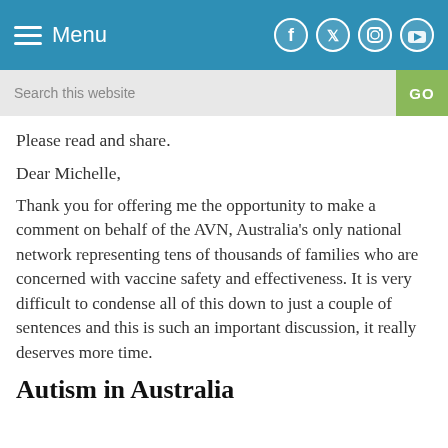Menu
Please read and share.
Dear Michelle,
Thank you for offering me the opportunity to make a comment on behalf of the AVN, Australia’s only national network representing tens of thousands of families who are concerned with vaccine safety and effectiveness. It is very difficult to condense all of this down to just a couple of sentences and this is such an important discussion, it really deserves more time.
Autism in Australia